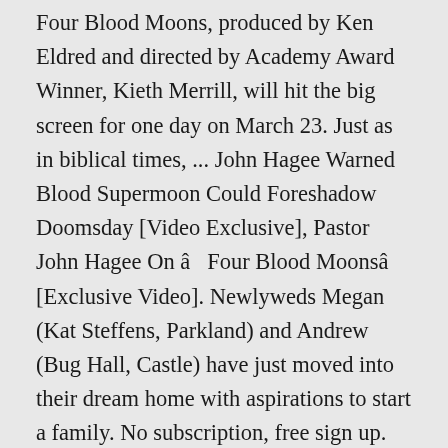Four Blood Moons, produced by Ken Eldred and directed by Academy Award Winner, Kieth Merrill, will hit the big screen for one day on March 23. Just as in biblical times, ... John Hagee Warned Blood Supermoon Could Foreshadow Doomsday [Video Exclusive], Pastor John Hagee On â Four Blood Moonsâ [Exclusive Video]. Newlyweds Megan (Kat Steffens, Parkland) and Andrew (Bug Hall, Castle) have just moved into their dream home with aspirations to start a family. No subscription, free sign up. Every year, millions lose billions in Vegas, but after Stephen Paddock opens fire on a crowd of 22,000 and kills 58 people, Sin City's image as a safe adult playground is put in jeopardy. Pastor Hagee: